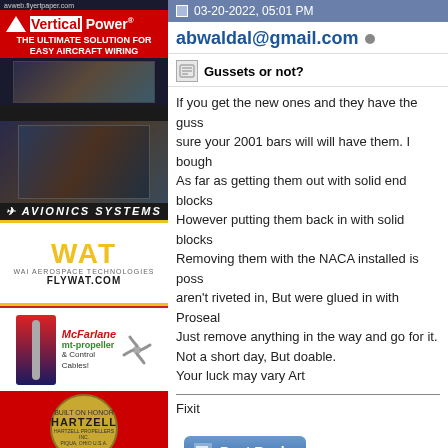[Figure (illustration): Vertical Power advertisement - THE ULTIMATE SOLUTION FOR EASY AIRCRAFT WIRING]
[Figure (illustration): Avionics Systems advertisement with cockpit image]
[Figure (illustration): WAT (WAI Aerospace Technologies) advertisement - FLYWAT.COM]
[Figure (illustration): McFarlane mt-propeller and Control Cables advertisement]
[Figure (illustration): Hartzell Propellers advertisement]
03-20-2022, 05:01 PM
abwaldal@gmail.com
Gussets or not?
If you get the new ones and they have the gussets I am not sure your 2001 bars will will have them. I bought new ones. As far as getting them out with solid end blocks, easy. However putting them back in with solid blocks is harder. Removing them with the NACA installed is possible as they aren't riveted in, But were glued in with Proseal. Just remove anything in the way and go for it. Not a short day, But doable. Your luck may vary Art
Fixit
[Figure (illustration): Post Reply button]
« Previous Thread | Ne
Posting Rules
You may not post new threads
You may not post replies